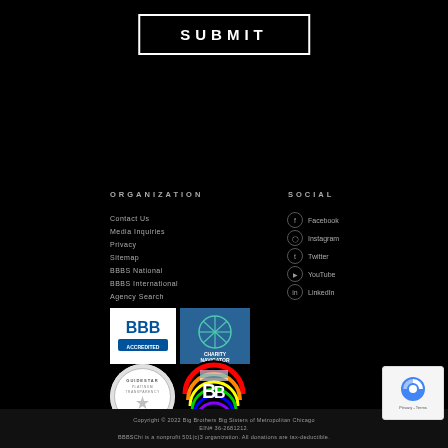SUBMIT
ORGANIZATION
SOCIAL
Contact Us
Media Inquiries
Privacy
Sitemap
BBBS National
BBBS International
Agency Search
Facebook
Instagram
Twitter
YouTube
LinkedIn
[Figure (logo): BBB Accredited Charity logo]
[Figure (logo): Charity Navigator logo]
[Figure (logo): GuideStar Platinum Transparency 2021 seal]
[Figure (logo): Big Brothers Big Sisters Pride logo with rainbow colors]
Copyright © 2022 Big Brothers Big Sisters of Metropolitan Chicago EIN# 36-2681212. BBBSChi is a nonprofit 501(c)3 organization. All donations are tax-deductible.